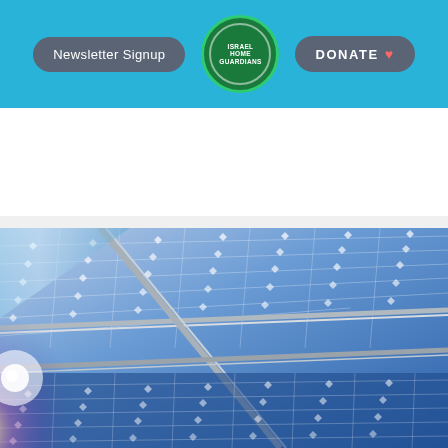[Figure (screenshot): Website navigation bar with 'Newsletter Signup' button, Israel Home Guardians circular logo, and 'DONATE' button on a cyan/blue background]
[Figure (screenshot): Accessibility icon bar (wheelchair symbol) and hamburger menu on cyan background]
[Figure (photo): Close-up photograph of solar panels with blue photovoltaic cells, metallic grid lines, and sunlight reflection creating purple/pink light flare in the lower left]